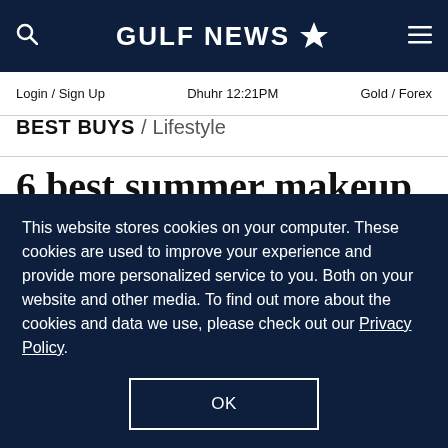GULF NEWS
Login / Sign Up   Dhuhr 12:21PM   Gold / Forex
BEST BUYS / Lifestyle
6 best summer makeup trends to try in the UAE, for 2022
This website stores cookies on your computer. These cookies are used to improve your experience and provide more personalized service to you. Both on your website and other media. To find out more about the cookies and data we use, please check out our Privacy Policy.
OK